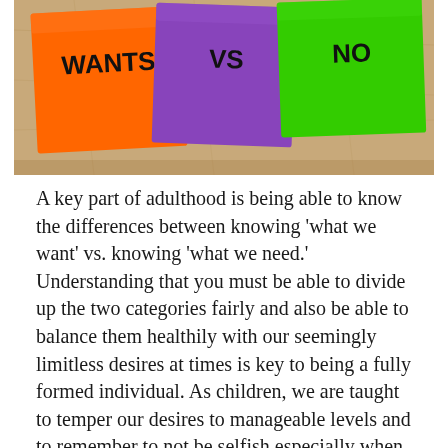[Figure (photo): Photo of colorful sticky notes (orange, purple, green) pinned to a corkboard. The notes appear to have writing on them — partially visible text including 'WANTS', 'VS', 'NO' or similar words written in black marker.]
A key part of adulthood is being able to know the differences between knowing 'what we want' vs. knowing 'what we need.' Understanding that you must be able to divide up the two categories fairly and also be able to balance them healthily with our seemingly limitless desires at times is key to being a fully formed individual. As children, we are taught to temper our desires to manageable levels and to remember to not be selfish especially when it conflicts with the needs of others.